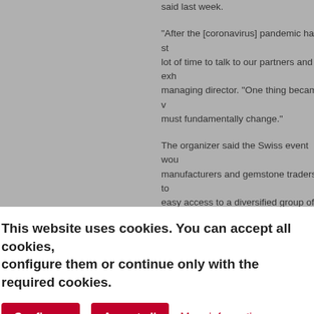said last week.
“After the [coronavirus] pandemic had st… lot of time to talk to our partners and exh… managing director. “One thing became v… must fundamentally change.”
The organizer said the Swiss event wou… manufacturers and gemstone traders to… easy access to a diversified group of ma…
Baselworld last took place in 2019. The… 2020 show while a dispute with exhibit…
This website uses cookies. You can accept all cookies, configure them or continue only with the required cookies.
Configure
Accept all
More information